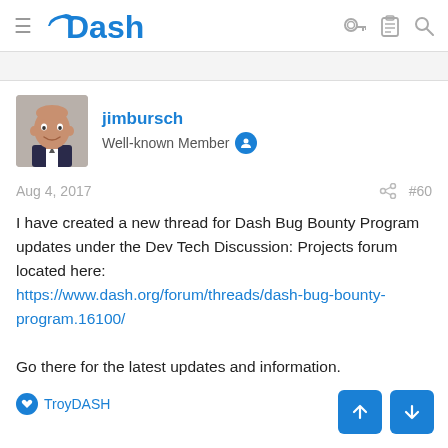Dash
jimbursch
Well-known Member
Aug 4, 2017   #60
I have created a new thread for Dash Bug Bounty Program updates under the Dev Tech Discussion: Projects forum located here:
https://www.dash.org/forum/threads/dash-bug-bounty-program.16100/

Go there for the latest updates and information.
TroyDASH